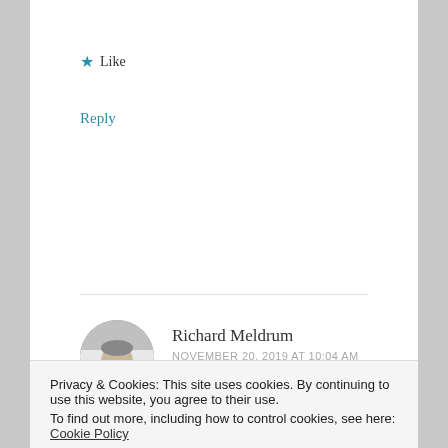★ Like
Reply
[Figure (photo): Circular avatar photo of Richard Meldrum, a man wearing sunglasses outdoors, black and white photo]
Richard Meldrum
NOVEMBER 20, 2019 AT 10:04 AM
Very powerful!
Privacy & Cookies: This site uses cookies. By continuing to use this website, you agree to their use.
To find out more, including how to control cookies, see here: Cookie Policy
Close and accept